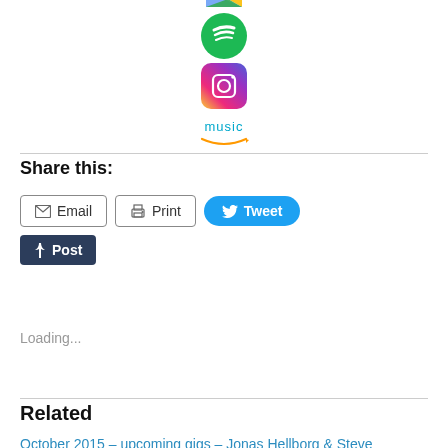[Figure (illustration): App store icons: Google Play (partial at top), Spotify green circle, Instagram colorful square, Amazon Music text logo with smile]
Share this:
[Figure (infographic): Share buttons: Email (outlined), Print (outlined), Tweet (blue rounded), Post (dark tumblr button)]
Loading...
Related
October 2015 – upcoming gigs – Jonas Hellborg & Steve